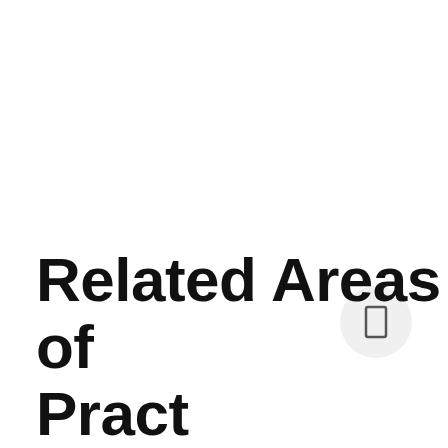[Figure (other): A circular badge/button with a small rectangle/bookmark icon centered inside it, positioned in the lower-right area of the page.]
Related Areas of Practice